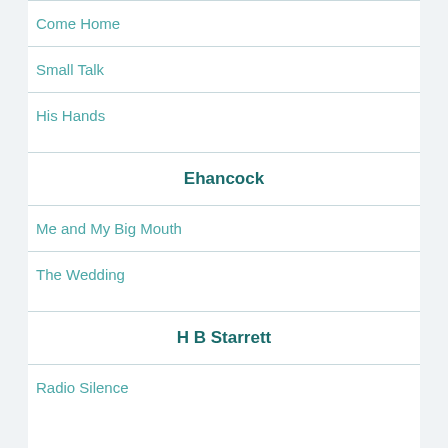Come Home
Small Talk
His Hands
Ehancock
Me and My Big Mouth
The Wedding
H B Starrett
Radio Silence